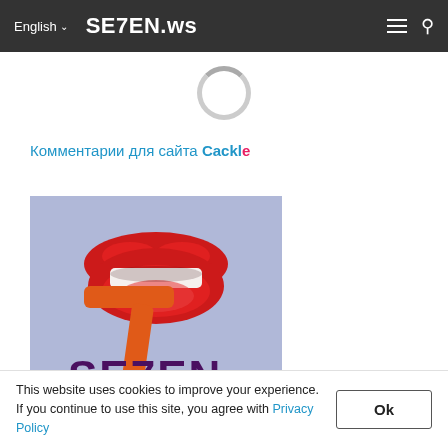English  SE7EN.ws
[Figure (illustration): Circular loading spinner, partially grey arc on white background]
Комментарии для сайта Cackle
[Figure (logo): SE7EN.ws logo: large orange numeral 7 with red lips biting it, text SE7EN below in dark purple, on a light blue/lavender background]
This website uses cookies to improve your experience. If you continue to use this site, you agree with Privacy Policy